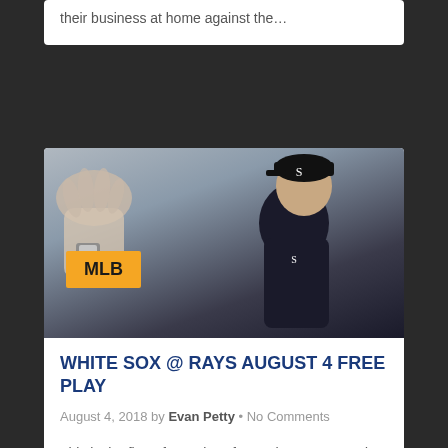their business at home against the…
[Figure (photo): A baseball player in a Chicago White Sox black uniform and cap, giving a high five in the dugout. An MLB badge overlay appears in the lower left.]
WHITE SOX @ RAYS AUGUST 4 FREE PLAY
August 4, 2018 by Evan Petty • No Comments
This is the first of two plays for me here on Saturday. Tampa Bay fell to Chicago in ten innings last night when Yoan Moncada drove home the go-ahead run with…